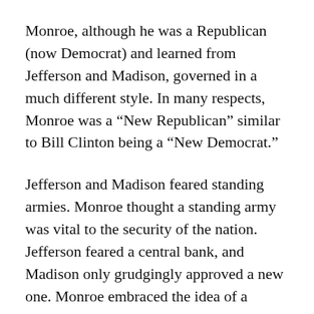Monroe, although he was a Republican (now Democrat) and learned from Jefferson and Madison, governed in a much different style. In many respects, Monroe was a “New Republican” similar to Bill Clinton being a “New Democrat.”
Jefferson and Madison feared standing armies. Monroe thought a standing army was vital to the security of the nation. Jefferson feared a central bank, and Madison only grudgingly approved a new one. Monroe embraced the idea of a central bank. Monroe did veto a bill that would have allowed the Federal government to collect tolls on the interstate Cumberland Road.  (It would be the only veto by Monroe in his eight years in office.)
Monroe’s background as a soldier in the Revolutionary